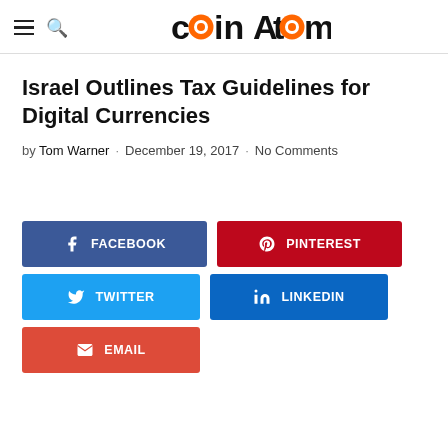coinAtoms
Israel Outlines Tax Guidelines for Digital Currencies
by Tom Warner · December 19, 2017 · No Comments
[Figure (other): Social share buttons: Facebook, Pinterest, Twitter, LinkedIn, Email]